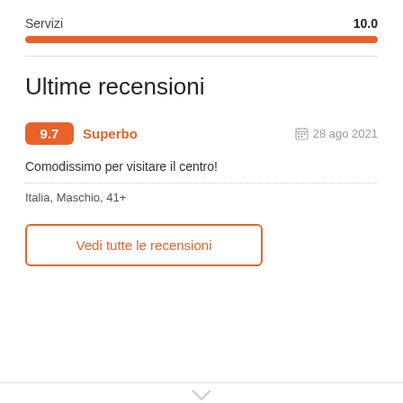Servizi   10.0
[Figure (infographic): Orange progress bar at 100% fill representing a score of 10.0]
Ultime recensioni
9.7   Superbo   28 ago 2021
Comodissimo per visitare il centro!
Italia, Maschio, 41+
Vedi tutte le recensioni